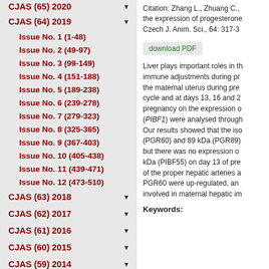CJAS (64) 2019
Issue No. 1 (1-48)
Issue No. 2 (49-97)
Issue No. 3 (99-149)
Issue No. 4 (151-188)
Issue No. 5 (189-238)
Issue No. 6 (239-278)
Issue No. 7 (279-323)
Issue No. 8 (325-365)
Issue No. 9 (367-403)
Issue No. 10 (405-438)
Issue No. 11 (439-471)
Issue No. 12 (473-510)
CJAS (63) 2018
CJAS (62) 2017
CJAS (61) 2016
CJAS (60) 2015
CJAS (59) 2014
Citation: Zhang L., Zhuang C... the expression of progesterone... Czech J. Anim. Sci., 64: 317-3...
download PDF
Liver plays important roles in the immune adjustments during pr... the maternal uterus during pre... cycle and at days 13, 16 and 2... pregnancy on the expression o... (PIBF1) were analysed through... Our results showed that the iso... (PGR60) and 89 kDa (PGR89)... but there was no expression o... kDa (PIBF55) on day 13 of pre... of the proper hepatic arteries a... PGR60 were up-regulated, an... involved in maternal hepatic im...
Keywords: